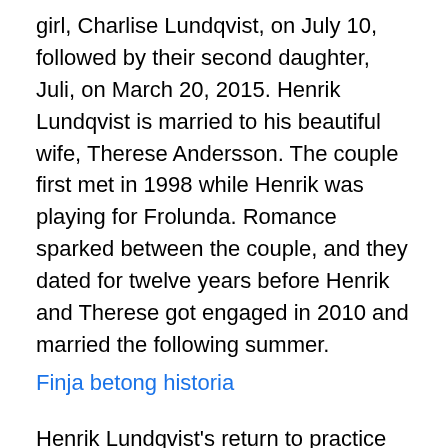girl, Charlise Lundqvist, on July 10, followed by their second daughter, Juli, on March 20, 2015. Henrik Lundqvist is married to his beautiful wife, Therese Andersson. The couple first met in 1998 while Henrik was playing for Frolunda. Romance sparked between the couple, and they dated for twelve years before Henrik and Therese got engaged in 2010 and married the following summer.
Finja betong historia
Henrik Lundqvist's return to practice will have to wait. "We haven't really talked about it, but we've played in front of him enough to know the difference between him and Talbs," Staal said. Henrik Lundqvist Birthday March 2, 1982 Age 38 years Gender Male Height 6 feet and 1 inch Weight 85 kgs Nationality Swedish Profession Ice Hockey